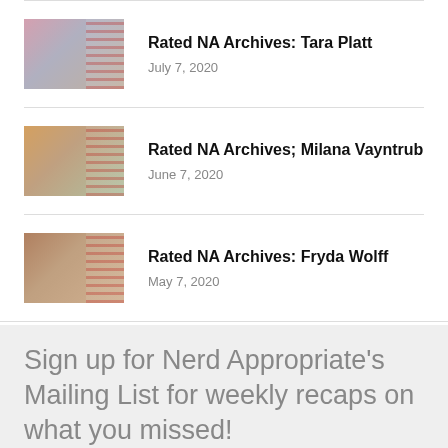Rated NA Archives: Tara Platt — July 7, 2020
Rated NA Archives; Milana Vayntrub — June 7, 2020
Rated NA Archives: Fryda Wolff — May 7, 2020
Sign up for Nerd Appropriate's Mailing List for weekly recaps on what you missed!